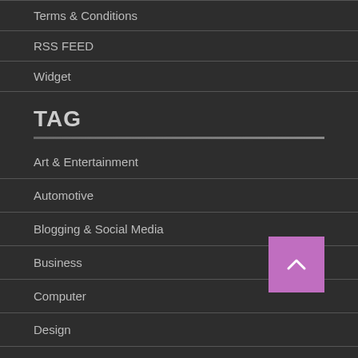Terms & Conditions
RSS FEED
Widget
TAG
Art & Entertainment
Automotive
Blogging & Social Media
Business
Computer
Design
Education
Environment
Events / Trade Shows
[Figure (other): Back to top button - purple square with upward chevron arrow]